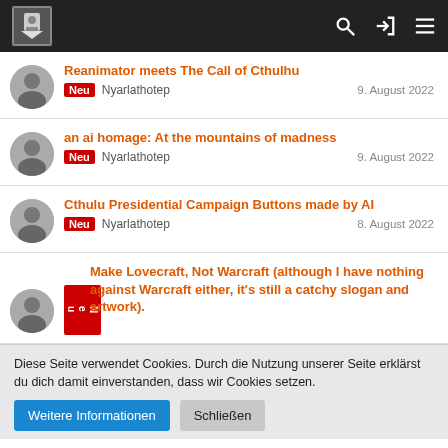Navigation bar with logo, search, login, and menu icons
Reanimator meets The Call of Cthulhu | Neu | Nyarlathotep | 9. August 2022
an ai homage: At the mountains of madness | Neu | Nyarlathotep | 9. August 2022
Cthulu Presidential Campaign Buttons made by AI | Neu | Nyarlathotep | 8. August 2022
Make Lovecraft, Not Warcraft (although I have nothing against Warcraft either, it's still a catchy slogan and artwork). | Neu
Diese Seite verwendet Cookies. Durch die Nutzung unserer Seite erklärst du dich damit einverstanden, dass wir Cookies setzen.
Weitere Informationen | Schließen